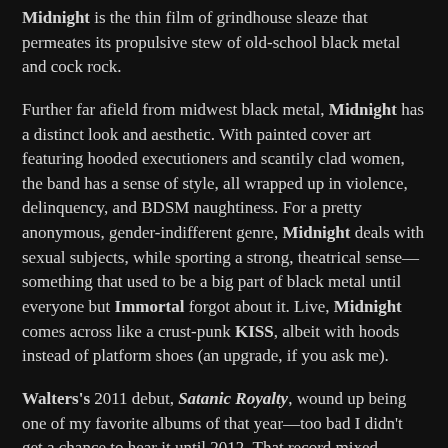Midnight is the thin film of grindhouse sleaze that permeates its propulsive stew of old-school black metal and cock rock.
Further far afield from midwest black metal, Midnight has a distinct look and aesthetic. With painted cover art featuring hooded executioners and scantily clad women, the band has a sense of style, all wrapped up in violence, delinquency, and BDSM naughtiness. For a pretty anonymous, gender-indifferent genre, Midnight deals with sexual subjects, while sporting a strong, theatrical sense—something that used to be a big part of black metal until everyone but Immortal forgot about it. Live, Midnight comes across like a crust-punk KISS, albeit with hoods instead of platform shoes (an upgrade, if you ask me).
Walters's 2011 debut, Satanic Royalty, wound up being one of my favorite albums of that year—too bad I didn't get a chance to hear it until 2012. That record mixed Venom-and-Motörhead-isms with arena-ready hooks. For the past two years, I've been frothing at the mouth to get a taste of its followup, and the Complete and Total Hell compilation album (reviewed here), though incredible, just did not scratch the itch